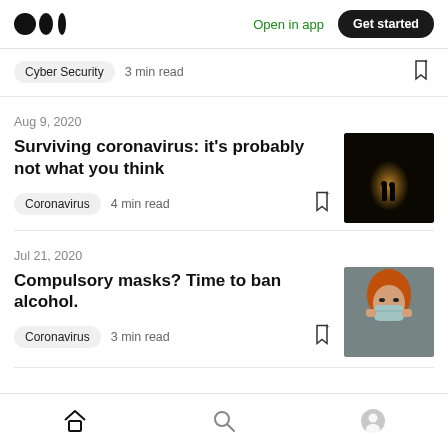Medium logo | Open in app | Get started
Cyber Security  3 min read
Aug 9, 2020
Surviving coronavirus: it’s probably not what you think
Coronavirus  4 min read
[Figure (photo): Two silhouettes of people walking through a dark tunnel towards a bright light]
Jul 21, 2020
Compulsory masks? Time to ban alcohol.
Coronavirus  3 min read
[Figure (photo): Woman with red/orange hair wearing a face mask outdoors]